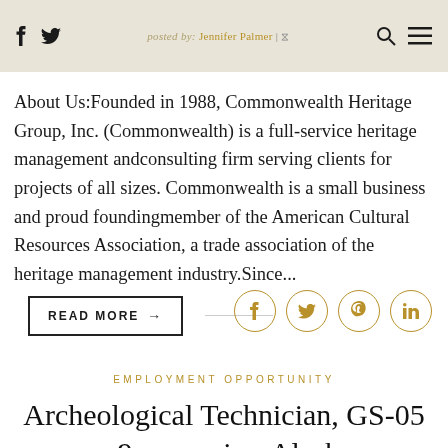posted by: Jennifer Palmer | (clock icon)
About Us:Founded in 1988, Commonwealth Heritage Group, Inc. (Commonwealth) is a full-service heritage management andconsulting firm serving clients for projects of all sizes. Commonwealth is a small business and proud foundingmember of the American Cultural Resources Association, a trade association of the heritage management industry.Since...
READ MORE →
EMPLOYMENT OPPORTUNITY
Archeological Technician, GS-05 – 9 vacancies, Alaska